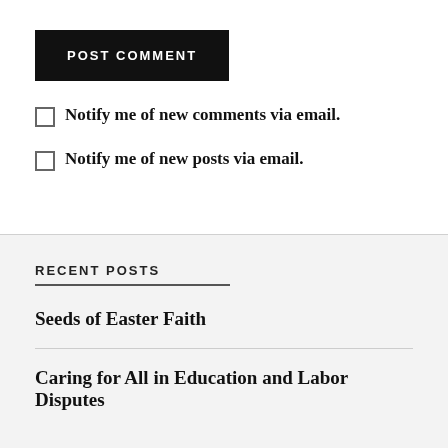POST COMMENT
Notify me of new comments via email.
Notify me of new posts via email.
RECENT POSTS
Seeds of Easter Faith
Caring for All in Education and Labor Disputes